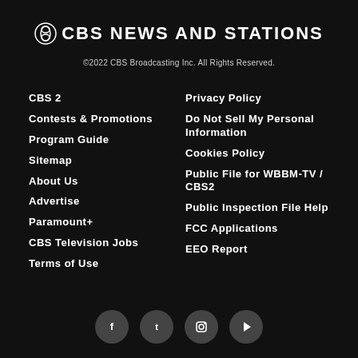CBS NEWS AND STATIONS
©2022 CBS Broadcasting Inc. All Rights Reserved.
CBS 2
Contests & Promotions
Program Guide
Sitemap
About Us
Advertise
Paramount+
CBS Television Jobs
Terms of Use
Privacy Policy
Do Not Sell My Personal Information
Cookies Policy
Public File for WBBM-TV / CBS2
Public Inspection File Help
FCC Applications
EEO Report
[Figure (other): Row of four dark circular social media icon buttons at the bottom of the page]